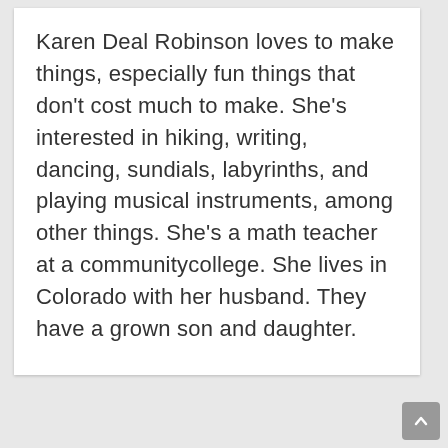Karen Deal Robinson loves to make things, especially fun things that don't cost much to make. She's interested in hiking, writing, dancing, sundials, labyrinths, and playing musical instruments, among other things. She's a math teacher at a communitycollege. She lives in Colorado with her husband. They have a grown son and daughter.